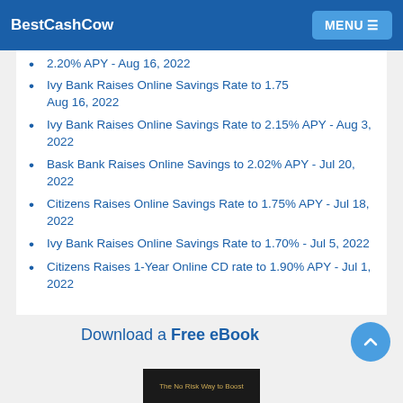BestCashCow MENU
2.20% APY - Aug 16, 2022
Ivy Bank Raises Online Savings Rate to 1.75% - Aug 16, 2022
Ivy Bank Raises Online Savings Rate to 2.15% APY - Aug 3, 2022
Bask Bank Raises Online Savings to 2.02% APY - Jul 20, 2022
Citizens Raises Online Savings Rate to 1.75% APY - Jul 18, 2022
Ivy Bank Raises Online Savings Rate to 1.70% - Jul 5, 2022
Citizens Raises 1-Year Online CD rate to 1.90% APY - Jul 1, 2022
Download a Free eBook